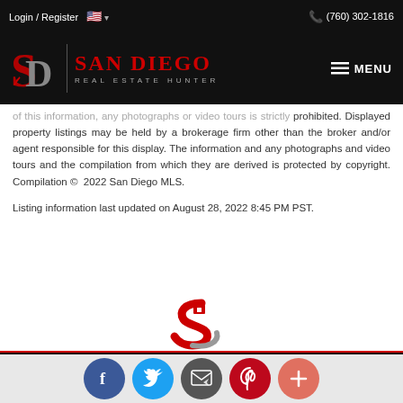Login / Register  🇺🇸 ▾   📞 (760) 302-1816
[Figure (logo): San Diego Real Estate Hunter logo with SD icon and text on black background with MENU button]
of this information, any photographs or video tours is strictly prohibited. Displayed property listings may be held by a brokerage firm other than the broker and/or agent responsible for this display. The information and any photographs and video tours and the compilation from which they are derived is protected by copyright. Compilation © 2022 San Diego MLS.
Listing information last updated on August 28, 2022 8:45 PM PST.
[Figure (logo): San Diego Real Estate Hunter S-shaped logo in red and gray]
Social sharing buttons: Facebook, Twitter, Email, Pinterest, More (+)